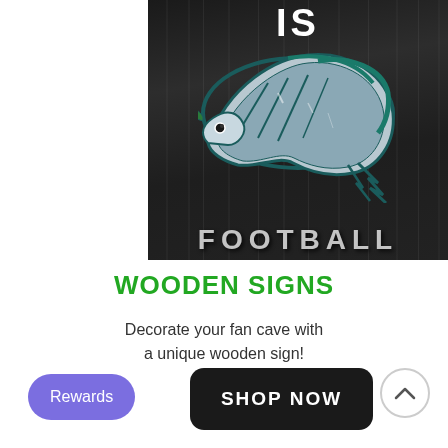[Figure (photo): Philadelphia Eagles wooden sign with eagle logo and 'FOOTBALL' text on dark wood background]
WOODEN SIGNS
Decorate your fan cave with a unique wooden sign!